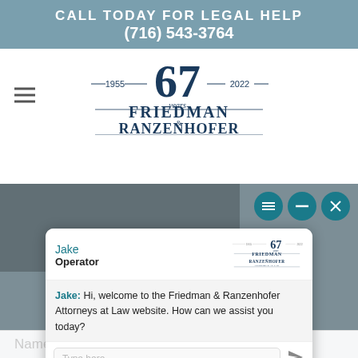CALL TODAY FOR LEGAL HELP
(716) 543-3764
[Figure (logo): Friedman & Ranzenhofer Attorneys at Law logo, 67 years 1955-2022]
[Figure (screenshot): Website screenshot showing chat widget with Jake (Operator) saying: Hi, welcome to the Friedman & Ranzenhofer Attorneys at Law website. How can we help you today? With Type here... input. Powered By: Accelerate Now. Background text: Download 5 ways to avoid [obscured] 9 Crisis]
Jake: Hi, welcome to the Friedman & Ranzenhofer Attorneys at Law website. How can we assist you today?
Powered By: Accelerate Now
Name